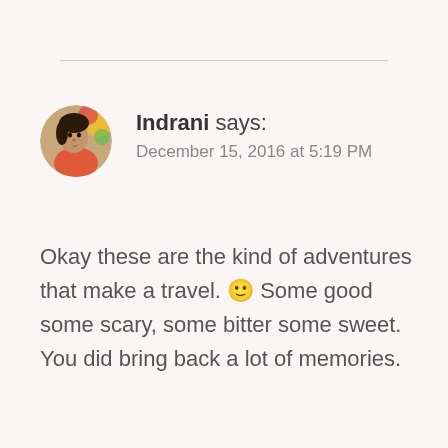Indrani says: December 15, 2016 at 5:19 PM
Okay these are the kind of adventures that make a travel. 🙂 Some good some scary, some bitter some sweet. You did bring back a lot of memories.